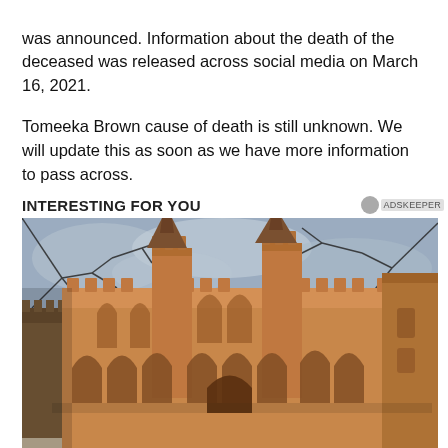was announced. Information about the death of the deceased was released across social media on March 16, 2021.
Tomeeka Brown cause of death is still unknown. We will update this as soon as we have more information to pass across.
INTERESTING FOR YOU
[Figure (photo): Photo of a large medieval castle or palace with stone arches, towers with conical turrets, crenellated battlements, and Gothic architectural details, photographed from a low angle against a partly cloudy blue-grey sky. Bare tree branches visible at top.]